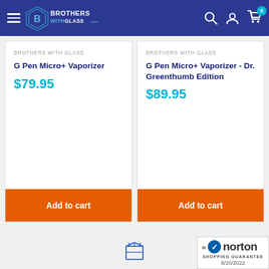Brothers with Glass - Navigation bar with hamburger menu, logo, search, account, and cart icons
BROTHERS WITH GLASS
G Pen Micro+ Vaporizer
$79.95
Add to cart
BROTHERS WITH GLASS
G Pen Micro+ Vaporizer - Dr. Greenthumb Edition
$89.95
Add to cart
[Figure (logo): Norton Shopping Guarantee badge with checkmark, date 8/20/2022]
[Figure (illustration): Box/package icon in outline style]